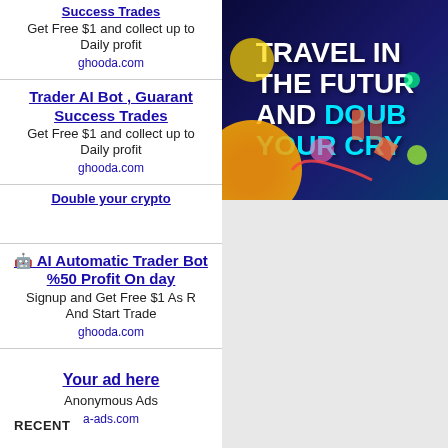Success Trades
Get Free $1 and collect up to Daily profit
ghooda.com
Trader AI Bot , Guaranteed Success Trades
Get Free $1 and collect up to Daily profit
ghooda.com
Double your crypto
[Figure (illustration): Crypto advertisement banner: TRAVEL INTO THE FUTURE AND DOUBLE YOUR CRYPTO text on dark blue/purple background with colorful geometric shapes and orange circle]
🤖 AI Automatic Trader Bot %50 Profit On day
Signup and Get Free $1 As Reward And Start Trade
ghooda.com
Your ad here
Anonymous Ads
a-ads.com
Earn more than the average crypto trader
RECENT